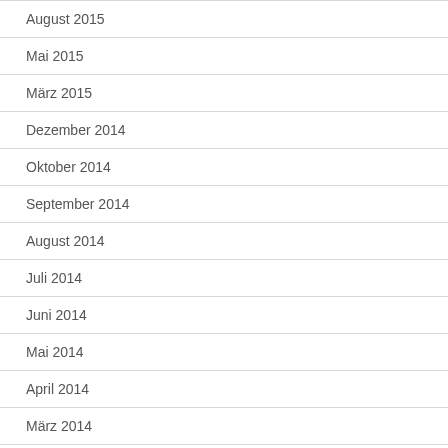August 2015
Mai 2015
März 2015
Dezember 2014
Oktober 2014
September 2014
August 2014
Juli 2014
Juni 2014
Mai 2014
April 2014
März 2014
Februar 2014
Januar 2014